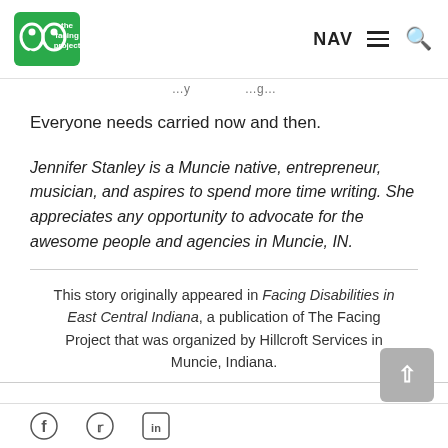the facing project — NAV [menu] [search]
…y … …g…
Everyone needs carried now and then.
Jennifer Stanley is a Muncie native, entrepreneur, musician, and aspires to spend more time writing. She appreciates any opportunity to advocate for the awesome people and agencies in Muncie, IN.
This story originally appeared in Facing Disabilities in East Central Indiana, a publication of The Facing Project that was organized by Hillcroft Services in Muncie, Indiana.
[Figure (other): Back to top button (grey rounded square with upward arrow)]
Social media icons: Facebook, Twitter, LinkedIn